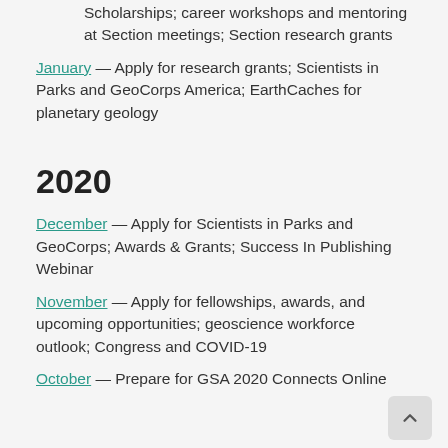Scholarships; career workshops and mentoring at Section meetings; Section research grants
January — Apply for research grants; Scientists in Parks and GeoCorps America; EarthCaches for planetary geology
2020
December — Apply for Scientists in Parks and GeoCorps; Awards & Grants; Success In Publishing Webinar
November — Apply for fellowships, awards, and upcoming opportunities; geoscience workforce outlook; Congress and COVID-19
October — Prepare for GSA 2020 Connects Online